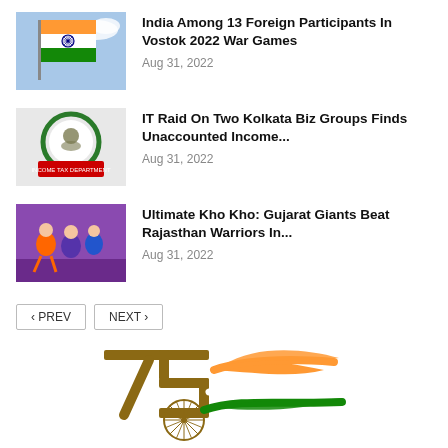India Among 13 Foreign Participants In Vostok 2022 War Games
Aug 31, 2022
IT Raid On Two Kolkata Biz Groups Finds Unaccounted Income…
Aug 31, 2022
Ultimate Kho Kho: Gujarat Giants Beat Rajasthan Warriors In…
Aug 31, 2022
[Figure (logo): India 75th anniversary Azadi Ka Amrit Mahotsav logo with tricolor bird design]
‹ PREV   NEXT ›